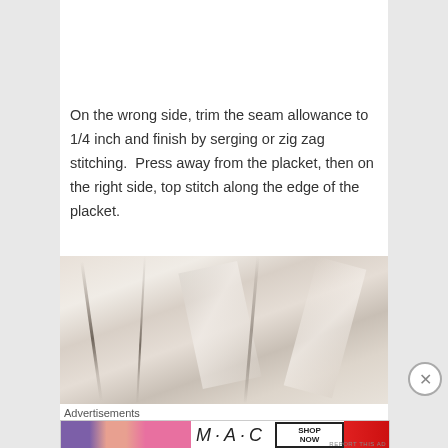[Figure (screenshot): WordPress.com advertisement banner with blue-to-pink gradient background and WordPress logo with text 'WordPress.com']
On the wrong side, trim the seam allowance to 1/4 inch and finish by serging or zig zag stitching.  Press away from the placket, then on the right side, top stitch along the edge of the placket.
[Figure (photo): Close-up photograph of crinkled white/cream fabric showing folds and texture]
Advertisements
[Figure (screenshot): MAC Cosmetics advertisement showing lipsticks in purple, peach, and pink colors alongside MAC logo and 'SHOP NOW' button with red lipstick]